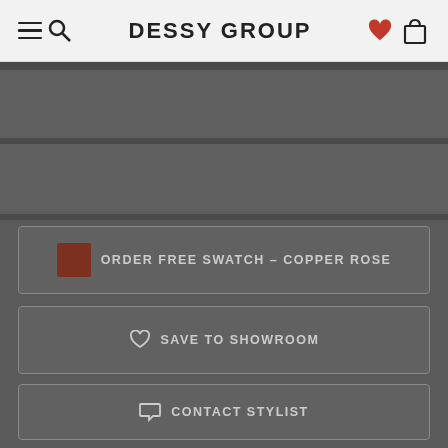DESSY GROUP
ORDER FREE SWATCH – COPPER ROSE
SAVE TO SHOWROOM
CONTACT STYLIST
CONTACT RETAILER